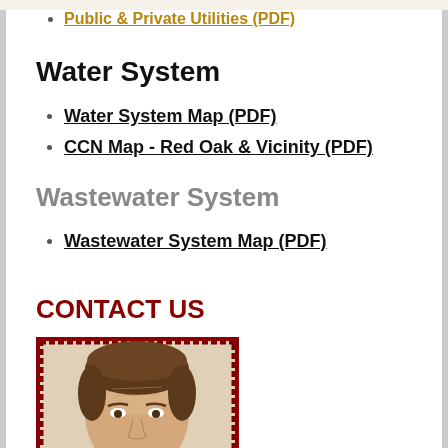Public & Private Utilities (PDF)
Water System
Water System Map (PDF)
CCN Map - Red Oak & Vicinity (PDF)
Wastewater System
Wastewater System Map (PDF)
CONTACT US
[Figure (photo): Headshot photo of a middle-aged man with brown hair, shown cropped from the top, displayed in a dark red bordered frame]